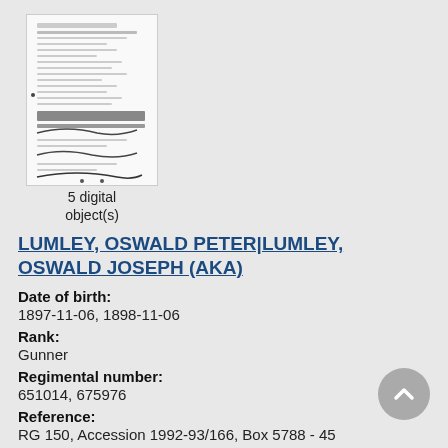[Figure (photo): Thumbnail of a scanned handwritten/typed government military record document]
5 digital object(s)
LUMLEY, OSWALD PETER|LUMLEY, OSWALD JOSEPH (AKA)
Date of birth:
1897-11-06, 1898-11-06
Rank:
Gunner
Regimental number:
651014, 675976
Reference:
RG 150, Accession 1992-93/166, Box 5788 - 45